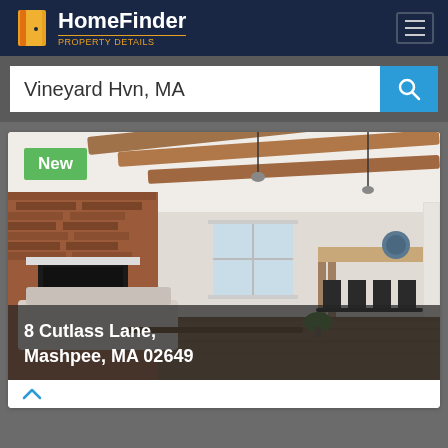HomeFinder
Vineyard Hvn, MA
[Figure (photo): Interior photo of a modern open-plan living room with exposed wood ceiling beams, brick fireplace, bar stools at kitchen counter, hardwood floors, and white walls.]
New
8 Cutlass Lane, Mashpee, MA 02649